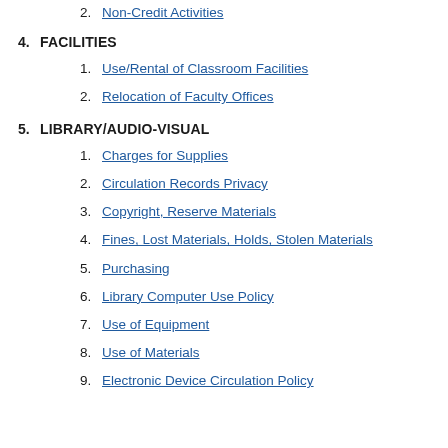2. Non-Credit Activities
4. FACILITIES
1. Use/Rental of Classroom Facilities
2. Relocation of Faculty Offices
5. LIBRARY/AUDIO-VISUAL
1. Charges for Supplies
2. Circulation Records Privacy
3. Copyright, Reserve Materials
4. Fines, Lost Materials, Holds, Stolen Materials
5. Purchasing
6. Library Computer Use Policy
7. Use of Equipment
8. Use of Materials
9. Electronic Device Circulation Policy